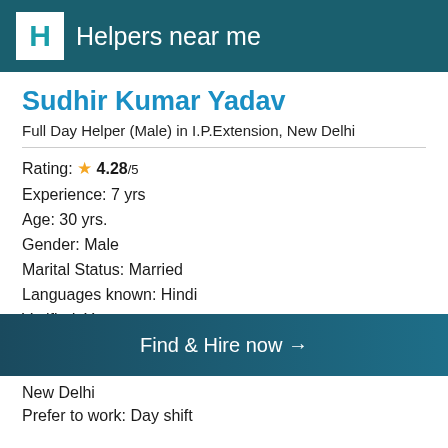Helpers near me
Sudhir Kumar Yadav
Full Day Helper (Male) in I.P.Extension, New Delhi
Rating: ★ 4.28/5
Experience: 7 yrs
Age: 30 yrs.
Gender: Male
Marital Status: Married
Languages known: Hindi
Verified: Yes
Education: Less than 10th
Salary Expected: ₹16,000/
Find & Hire now →
New Delhi
Prefer to work: Day shift